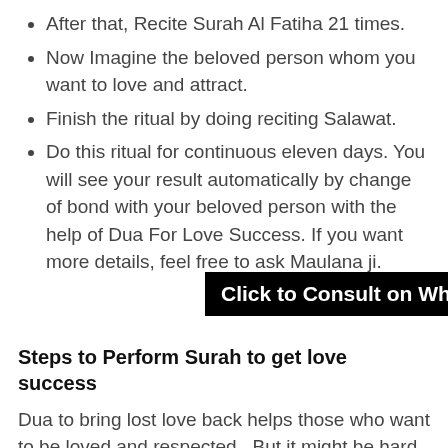After that, Recite Surah Al Fatiha 21 times.
Now Imagine the beloved person whom you want to love and attract.
Finish the ritual by doing reciting Salawat.
Do this ritual for continuous eleven days. You will see your result automatically by change of bond with your beloved person with the help of Dua For Love Success. If you want more details, feel free to ask Maulana ji.
[Figure (other): Black banner button with white bold text: Click to Consult on Whatsapp]
Steps to Perform Surah to get love success
Dua to bring lost love back helps those who want to be loved and respected., But it might be hard to bear with not being loved by that particular person you want and feel attracted to. Do this, Dua for love back
Go and take a shower before you start